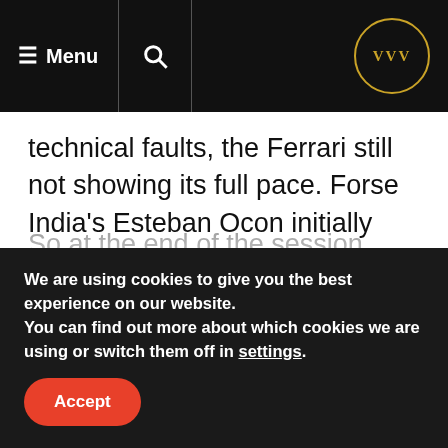≡ Menu  🔍  VVV
technical faults, the Ferrari still not showing its full pace. Forse India's Esteban Ocon initially slow at getting out, later both cars were able to put in solid running. The rookies needing all the track time they can get in finding their war around this relatively bumpy venue.
So at the end of the session, Lewis fastest
We are using cookies to give you the best experience on our website.
You can find out more about which cookies we are using or switch them off in settings.
Accept